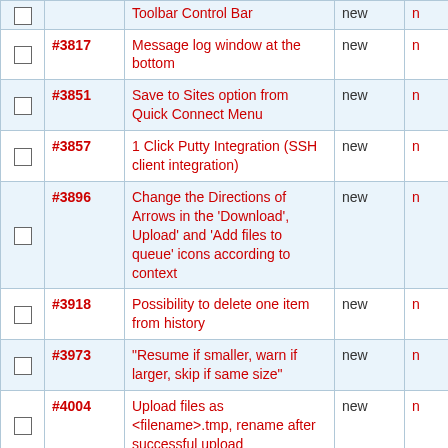|  | ID | Summary | Status |  |
| --- | --- | --- | --- | --- |
| ☐ | #3817 | Message log window at the bottom | new | n |
| ☐ | #3851 | Save to Sites option from Quick Connect Menu | new | n |
| ☐ | #3857 | 1 Click Putty Integration (SSH client integration) | new | n |
| ☐ | #3896 | Change the Directions of Arrows in the 'Download', Upload' and 'Add files to queue' icons according to context | new | n |
| ☐ | #3918 | Possibility to delete one item from history | new | n |
| ☐ | #3973 | "Resume if smaller, warn if larger, skip if same size" | new | n |
| ☐ | #4004 | Upload files as <filename>.tmp, rename after successful upload | new | n |